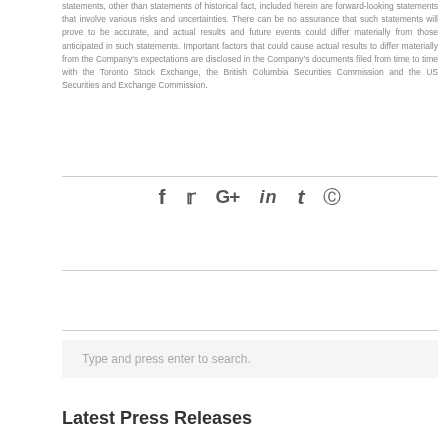statements, other than statements of historical fact, included herein are forward-looking statements that involve various risks and uncertainties. There can be no assurance that such statements will prove to be accurate, and actual results and future events could differ materially from those anticipated in such statements. Important factors that could cause actual results to differ materially from the Company's expectations are disclosed in the Company's documents filed from time to time with the Toronto Stock Exchange, the British Columbia Securities Commission and the US Securities and Exchange Commission.
[Figure (other): Social media share icons: Facebook (f), Twitter (bird), Google+ (G+), LinkedIn (in), Tumblr (t), Pinterest (P circle)]
Type and press enter to search.
Latest Press Releases